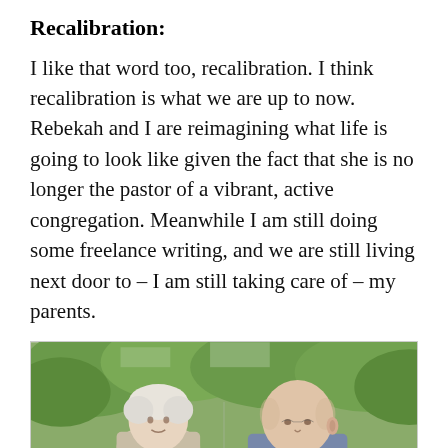Recalibration:
I like that word too, recalibration. I think recalibration is what we are up to now. Rebekah and I are reimagining what life is going to look like given the fact that she is no longer the pastor of a vibrant, active congregation. Meanwhile I am still doing some freelance writing, and we are still living next door to – I am still taking care of – my parents.
[Figure (photo): Outdoor photo showing two elderly people with green trees in the background. The left person has white/blonde hair and the right person has a bald/shaved head. Photo is partially cropped at the bottom.]